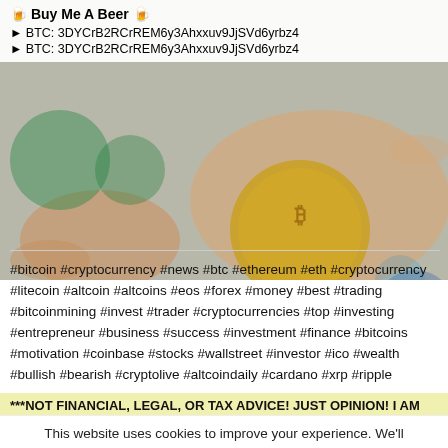🍺 Buy Me A Beer 🍺
► BTC: 3DYCrB2RCrREM6y3Ahxxuv9JjSVd6yrbz4
► BTC: 3DYCrB2RCrREM6y3Ahxxuv9JjSVd6yrbz4
[Figure (photo): Background photo of a hand holding a Bitcoin coin with crypto-related logos]
#bitcoin #cryptocurrency #news #btc #ethereum #eth #cryptocurrency #litecoin #altcoin #altcoins #eos #forex #money #best #trading #bitcoinmining #invest #trader #cryptocurrencies #top #investing #entrepreneur #business #success #investment #finance #bitcoins #motivation #coinbase #stocks #wallstreet #investor #ico #wealth #bullish #bearish #cryptolive #altcoindaily #cardano #xrp #ripple
***NOT FINANCIAL, LEGAL, OR TAX ADVICE! JUST OPINION! I AM
This website uses cookies to improve your experience. We'll assume you're ok with this, but you can opt-out if you wish.
Cookie settings  ACCEPT